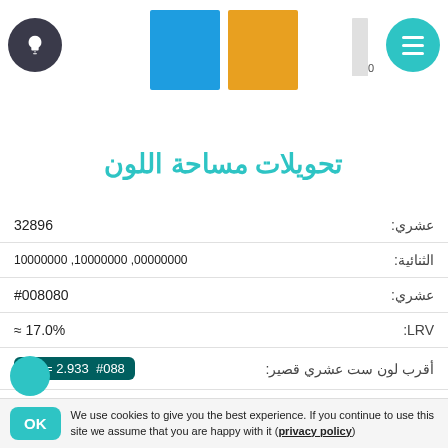[Figure (screenshot): Top navigation bar with teal hamburger menu circle on right, small bar chart with 0 label, two color swatches (yellow and blue), and teal lightbulb circle on left]
تحويلات مساحة اللون
| Label | Value |
| --- | --- |
| عشري: | 32896 |
| الثنائية: | 00000000 ,10000000 ,10000000 |
| عشري: | #008080 |
| LRV: | ≈ 17.0% |
| أقرب لون ست عشري قصير: | ΔE = 2.933  #088 |
| RGB: | rgb(0, 128, 128) |
| RGBA: | rgba(0, 128, 128, 1.0) |
We use cookies to give you the best experience. If you continue to use this site we assume that you are happy with it (privacy policy)